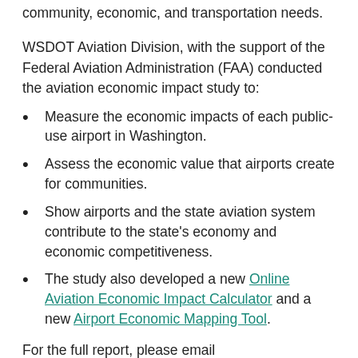community, economic, and transportation needs.
WSDOT Aviation Division, with the support of the Federal Aviation Administration (FAA) conducted the aviation economic impact study to:
Measure the economic impacts of each public-use airport in Washington.
Assess the economic value that airports create for communities.
Show airports and the state aviation system contribute to the state's economy and economic competitiveness.
The study also developed a new Online Aviation Economic Impact Calculator and a new Airport Economic Mapping Tool.
For the full report, please email